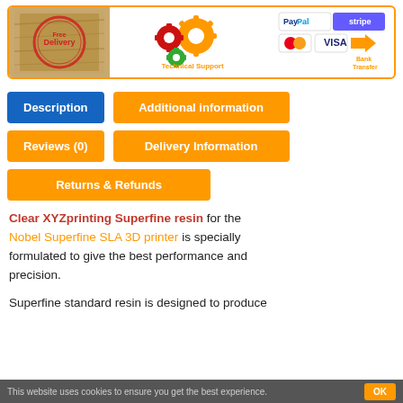[Figure (infographic): Banner with three sections: left shows a 'Free Delivery' stamp on wood background, middle shows gear icons with 'Technical Support' text, right shows PayPal, Stripe, Mastercard, VISA payment icons and 'Bank Transfer' with arrow logo.]
Description
Additional information
Reviews (0)
Delivery Information
Returns & Refunds
Clear XYZprinting Superfine resin for the Nobel Superfine SLA 3D printer is specially formulated to give the best performance and precision.
Superfine standard resin is designed to produce
This website uses cookies to ensure you get the best experience.